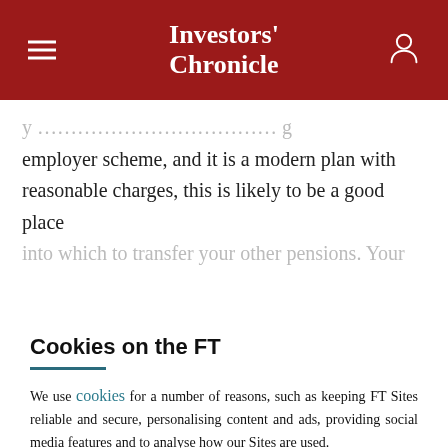Investors' Chronicle
y... employer scheme, and it is a modern plan with reasonable charges, this is likely to be a good place into which to transfer your other pensions. Your
Cookies on the FT
We use cookies for a number of reasons, such as keeping FT Sites reliable and secure, personalising content and ads, providing social media features and to analyse how our Sites are used.
Manage cookies
Accept & continue